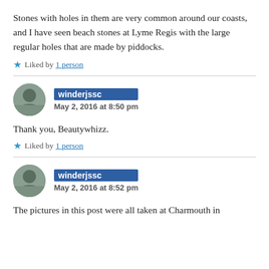Stones with holes in them are very common around our coasts, and I have seen beach stones at Lyme Regis with the large regular holes that are made by piddocks.
★ Liked by 1 person
winderjssc
May 2, 2016 at 8:50 pm
Thank you, Beautywhizz.
★ Liked by 1 person
winderjssc
May 2, 2016 at 8:52 pm
The pictures in this post were all taken at Charmouth in